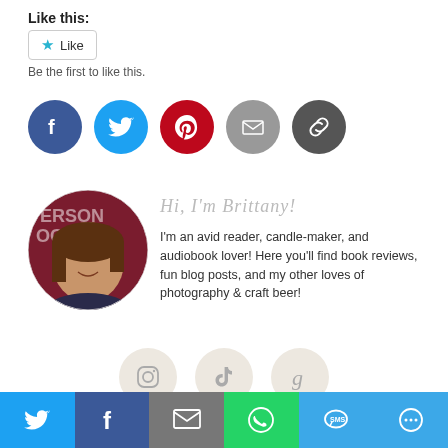Like this:
[Figure (screenshot): Like button widget with star icon and 'Like' text, followed by 'Be the first to like this.' subtitle]
[Figure (infographic): Row of five social sharing icon circles: Facebook (dark blue), Twitter (light blue), Pinterest (red), Email (gray), Link (dark gray)]
[Figure (photo): Circular profile photo of a woman smiling, with a dark red background showing partial text 'ERSON' and 'PS']
Hi, I'm Brittany!
I'm an avid reader, candle-maker, and audiobook lover! Here you'll find book reviews, fun blog posts, and my other loves of photography & craft beer!
[Figure (infographic): Row of three soft beige circle icons: Instagram, TikTok, Goodreads]
[Figure (infographic): Bottom share bar with six colored buttons: Twitter (blue), Facebook (dark blue), Email (gray), WhatsApp (green), SMS (blue), More/share (blue)]